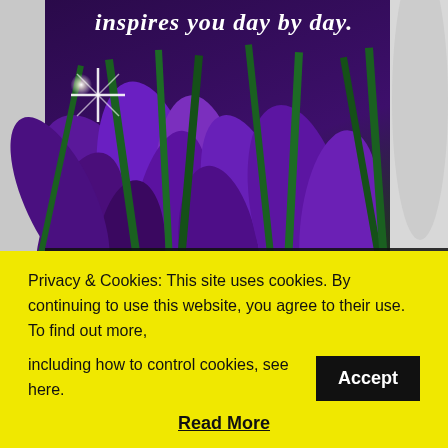[Figure (photo): Photo of purple crocus flowers with green stems against a white/light background. White cursive text overlay reads 'inspires you day by day.' with a starburst light effect. Dark banner at bottom reads 'COMMENTWAREHOUSE.COM'.]
LOVE GRAPHICS
A mother is one whose special love inspires you day by day.
Privacy & Cookies: This site uses cookies. By continuing to use this website, you agree to their use. To find out more, including how to control cookies, see here. Accept
Read More